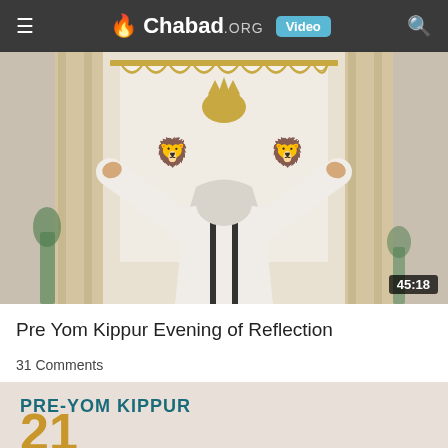Chabad.ORG Video
[Figure (screenshot): A cantor or rabbi in white robes and tallit, arms raised before an ornate synagogue ark with a decorative parochet (curtain), viewed from behind. Duration badge shows 45:18.]
Pre Yom Kippur Evening of Reflection
31 Comments
[Figure (screenshot): Partial view of a second video card showing text PRE-YOM KIPPUR in teal bold letters and the beginning of large gold numerals below.]